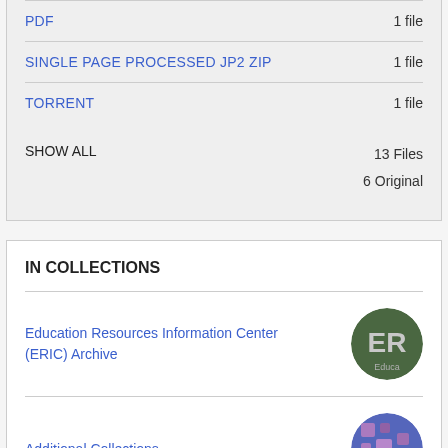PDF  1 file
SINGLE PAGE PROCESSED JP2 ZIP  1 file
TORRENT  1 file
SHOW ALL  13 Files  6 Original
IN COLLECTIONS
Education Resources Information Center (ERIC) Archive
Additional Collections